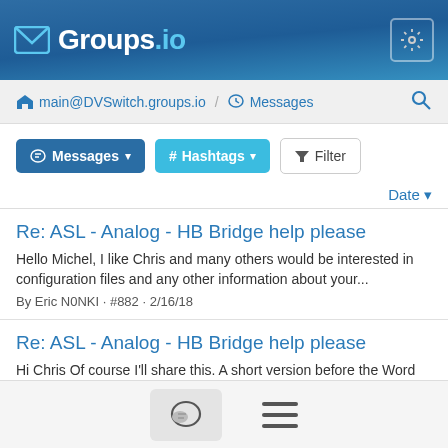Groups.io
main@DVSwitch.groups.io / Messages
Messages  # Hashtags  Filter
Date
Re: ASL - Analog - HB Bridge help please
Hello Michel, I like Chris and many others would be interested in configuration files and any other information about your...
By Eric N0NKI · #882 · 2/16/18
Re: ASL - Analog - HB Bridge help please
Hi Chris Of course I'll share this. A short version before the Word Mobile Congress un Barcelona, because I run after time ;-) Do...